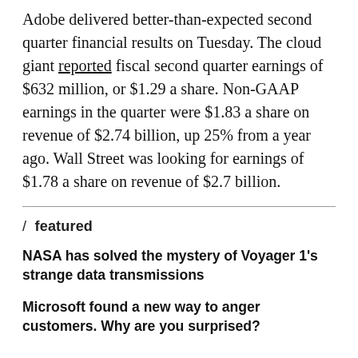Adobe delivered better-than-expected second quarter financial results on Tuesday. The cloud giant reported fiscal second quarter earnings of $632 million, or $1.29 a share. Non-GAAP earnings in the quarter were $1.83 a share on revenue of $2.74 billion, up 25% from a year ago. Wall Street was looking for earnings of $1.78 a share on revenue of $2.7 billion.
/ featured
NASA has solved the mystery of Voyager 1's strange data transmissions
Microsoft found a new way to anger customers. Why are you surprised?